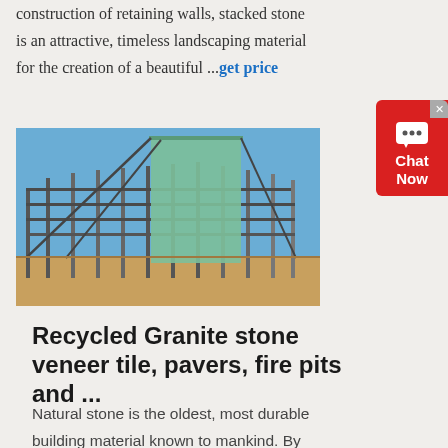construction of retaining walls, stacked stone is an attractive, timeless landscaping material for the creation of a beautiful ...get price
[Figure (photo): Industrial construction site with large steel framework structure and a tall green metal panel, under clear blue sky on sandy ground.]
Recycled Granite stone veneer tile, pavers, fire pits and ...
Natural stone is the oldest, most durable building material known to mankind. By recycling granite we are resizing the material into user-friendly dimensions that are more efficient and economical to transport and install. Our recycled split stone tiles are split THIN allowing twice the coverage of traditional tiles, greatly